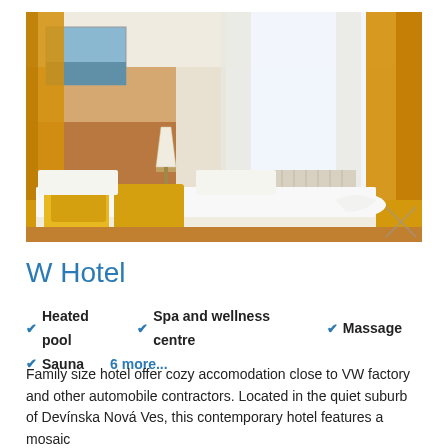[Figure (photo): Hotel room interior with double bed, yellow/golden decorative pillows, white bedding, wooden headboard wall panel, lamp on bedside table, large window with white sheer curtains and yellow/golden drape curtains, warm lighting]
W Hotel
Heated pool
Spa and wellness centre
Massage
Sauna
6 more...
Family size hotel offer cozy accomodation close to VW factory and other automobile contractors. Located in the quiet suburb of Devínska Nová Ves, this contemporary hotel features a mosaic